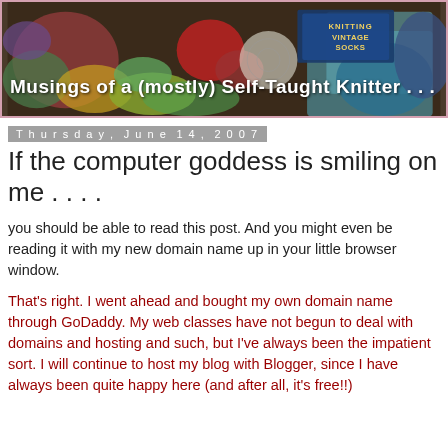[Figure (illustration): Blog header banner image showing knitting supplies, yarn, and books including 'Knitting Vintage Socks', with text overlay 'Musings of a (mostly) Self-Taught Knitter . . .']
Thursday, June 14, 2007
If the computer goddess is smiling on me . . . .
you should be able to read this post. And you might even be reading it with my new domain name up in your little browser window.
That's right. I went ahead and bought my own domain name through GoDaddy. My web classes have not begun to deal with domains and hosting and such, but I've always been the impatient sort. I will continue to host my blog with Blogger, since I have always been quite happy here (and after all, it's free!!)